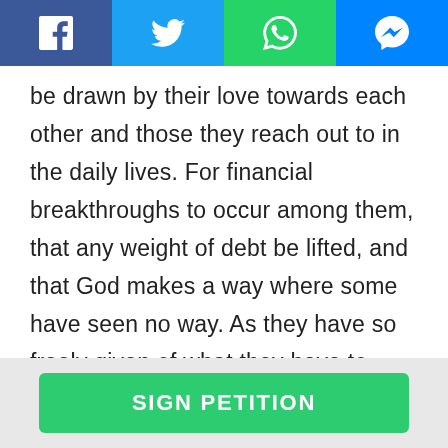[Figure (other): Social sharing bar with four buttons: Facebook (blue), Twitter (light blue), WhatsApp (green), Messenger (blue)]
be drawn by their love towards each other and those they reach out to in the daily lives. For financial breakthroughs to occur among them, that any weight of debt be lifted, and that God makes a way where some have seen no way. As they have so freely given of what they have to reach the world around them, let them also experience an abundant time of receiving from all their sowing.
SIGN PETITION